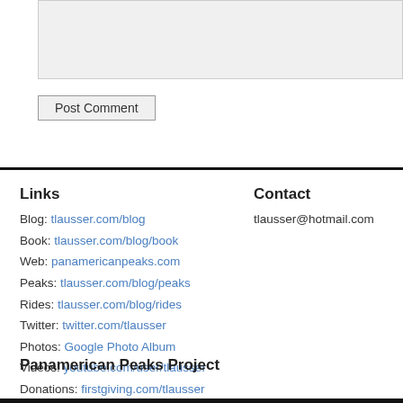[Figure (screenshot): Grey textarea input box at the top of the page]
Post Comment
Links
Blog: tlausser.com/blog
Book: tlausser.com/blog/book
Web: panamericanpeaks.com
Peaks: tlausser.com/blog/peaks
Rides: tlausser.com/blog/rides
Twitter: twitter.com/tlausser
Photos: Google Photo Album
Videos: youtube.com/user/tlausser
Donations: firstgiving.com/tlausser
Contact
tlausser@hotmail.com
Panamerican Peaks Project